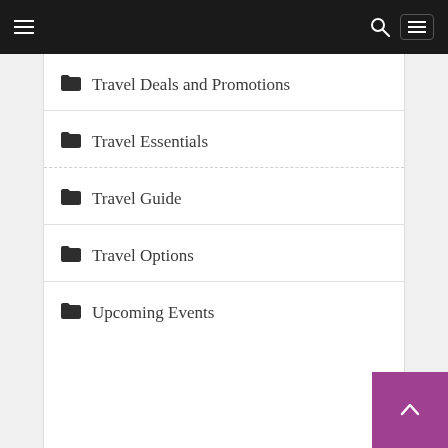Navigation header with hamburger menu, search, and menu button
Travel Deals and Promotions
Travel Essentials
Travel Guide
Travel Options
Upcoming Events